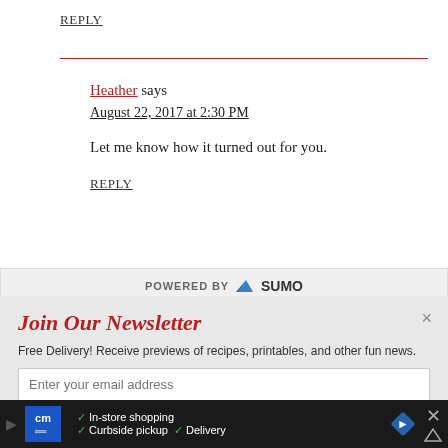REPLY
Heather says
August 22, 2017 at 2:30 PM
Let me know how it turned out for you.
REPLY
[Figure (logo): POWERED BY SUMO badge/banner]
Join Our Newsletter
Free Delivery! Receive previews of recipes, printables, and other fun news.
Enter your email address
[Figure (infographic): Advertisement bar: CM logo, In-store shopping, Curbside pickup, Delivery checkmarks, navigation arrow, close button]